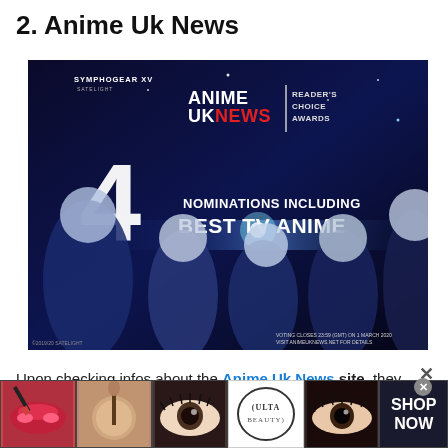2. Anime Uk News
[Figure (screenshot): Anime UK News Reader's Choice Awards promotional banner showing anime characters with text '4 NOMINATIONS INCLUDING BEST TV ANIME'. Symphogear XV branding visible. Voting closes 23:59 (GMT) on 1 March 2020.]
Upon checking infos about the Anime Uk News site, they claims …lates
[Figure (photo): Advertisement banner at bottom showing cosmetics/beauty products and ULTA logo with SHOP NOW button]